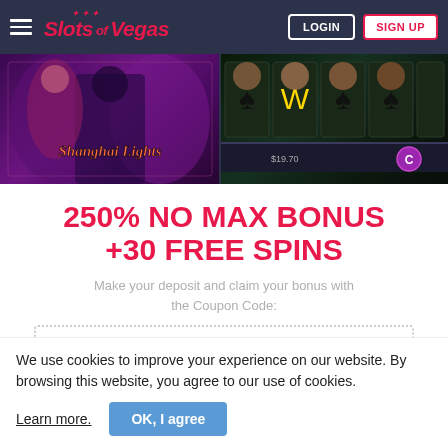Slots of Vegas - LOGIN - SIGN UP
[Figure (screenshot): Two casino game screenshots side by side: Shanghai Lights slot game on the left, and a card/spades themed slot game on the right]
250% NO MAX BONUS +30 FREE SPINS
Make your deposit and claim your bonus with the Coupon Code:
CITYNIGHTS
We use cookies to improve your experience on our website. By browsing this website, you agree to our use of cookies.
Learn more.
OK, I agree